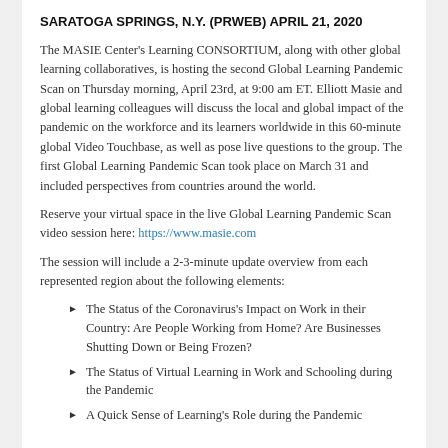SARATOGA SPRINGS, N.Y. (PRWEB) APRIL 21, 2020
The MASIE Center's Learning CONSORTIUM, along with other global learning collaboratives, is hosting the second Global Learning Pandemic Scan on Thursday morning, April 23rd, at 9:00 am ET. Elliott Masie and global learning colleagues will discuss the local and global impact of the pandemic on the workforce and its learners worldwide in this 60-minute global Video Touchbase, as well as pose live questions to the group. The first Global Learning Pandemic Scan took place on March 31 and included perspectives from countries around the world.
Reserve your virtual space in the live Global Learning Pandemic Scan video session here: https://www.masie.com
The session will include a 2-3-minute update overview from each represented region about the following elements:
The Status of the Coronavirus's Impact on Work in their Country: Are People Working from Home? Are Businesses Shutting Down or Being Frozen?
The Status of Virtual Learning in Work and Schooling during the Pandemic
A Quick Sense of Learning's Role during the Pandemic